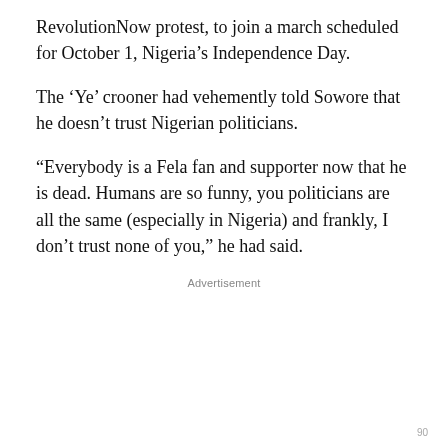RevolutionNow protest, to join a march scheduled for October 1, Nigeria’s Independence Day.
The ‘Ye’ crooner had vehemently told Sowore that he doesn’t trust Nigerian politicians.
“Everybody is a Fela fan and supporter now that he is dead. Humans are so funny, you politicians are all the same (especially in Nigeria) and frankly, I don’t trust none of you,” he had said.
Advertisement